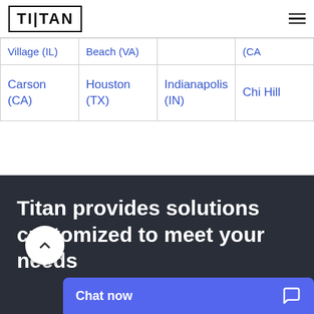[Figure (logo): TITAN logo in rectangular border, top left of navigation bar]
| Village (IL) | Beach (VA) |  | (CA) |
| Carson (CA) | Houston (TX) | Indianapolis (IN) | Chi... Hill... |
Titan provides solutions customized to meet your needs